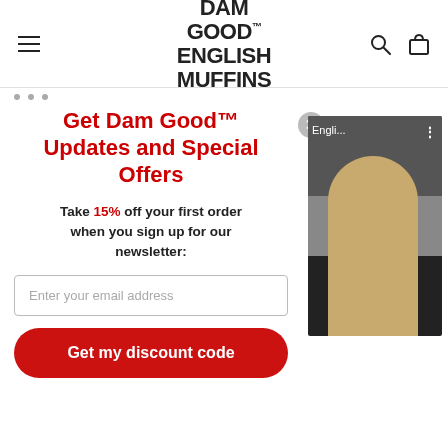DAM GOOD ENGLISH MUFFINS
Get Dam Good™ Updates and Special Offers
Take 15% off your first order when you sign up for our newsletter:
Enter your email address
Get my discount code
[Figure (photo): Side panel showing a person with long blonde hair from behind, in a dark setting. Partial text 'Engli...' visible at top left of the image panel.]